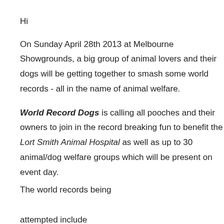Hi
On Sunday April 28th 2013 at Melbourne Showgrounds, a big group of animal lovers and their dogs will be getting together to smash some world records - all in the name of animal welfare.
World Record Dogs is calling all pooches and their owners to join in the record breaking fun to benefit the Lort Smith Animal Hospital as well as up to 30 animal/dog welfare groups which will be present on event day.
The world records being attempted include